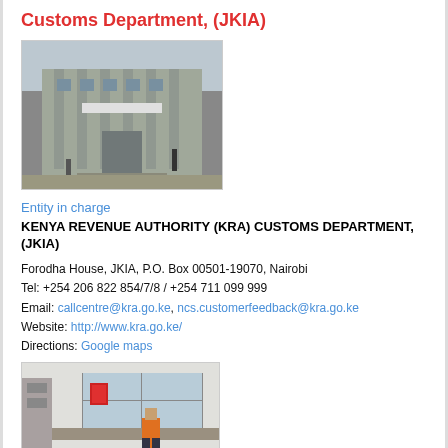Customs Department, (JKIA)
[Figure (photo): Exterior photo of Forodha House / KRA Customs Department building at JKIA]
Entity in charge
KENYA REVENUE AUTHORITY (KRA) CUSTOMS DEPARTMENT, (JKIA)
Forodha House, JKIA, P.O. Box 00501-19070, Nairobi
Tel: +254 206 822 854/7/8 / +254 711 099 999
Email: callcentre@kra.go.ke, ncs.customerfeedback@kra.go.ke
Website: http://www.kra.go.ke/
Directions: Google maps
[Figure (photo): Interior photo of KRA customs counter with worker in orange vest]